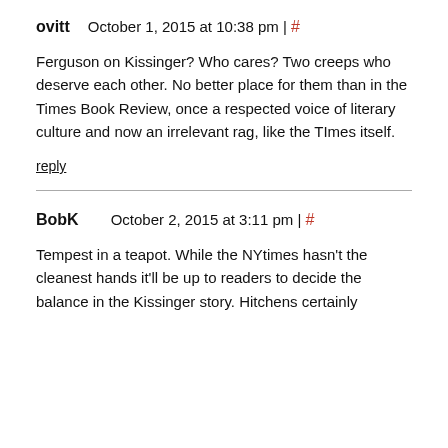ovitt   October 1, 2015 at 10:38 pm | #
Ferguson on Kissinger? Who cares? Two creeps who deserve each other. No better place for them than in the Times Book Review, once a respected voice of literary culture and now an irrelevant rag, like the TImes itself.
reply
BobK   October 2, 2015 at 3:11 pm | #
Tempest in a teapot. While the NYtimes hasn't the cleanest hands it'll be up to readers to decide the balance in the Kissinger story. Hitchens certainly